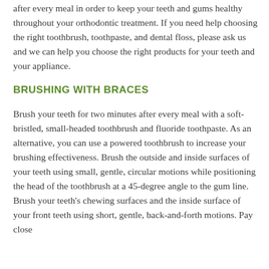after every meal in order to keep your teeth and gums healthy throughout your orthodontic treatment. If you need help choosing the right toothbrush, toothpaste, and dental floss, please ask us and we can help you choose the right products for your teeth and your appliance.
BRUSHING WITH BRACES
Brush your teeth for two minutes after every meal with a soft-bristled, small-headed toothbrush and fluoride toothpaste. As an alternative, you can use a powered toothbrush to increase your brushing effectiveness. Brush the outside and inside surfaces of your teeth using small, gentle, circular motions while positioning the head of the toothbrush at a 45-degree angle to the gum line. Brush your teeth's chewing surfaces and the inside surface of your front teeth using short, gentle, back-and-forth motions. Pay close